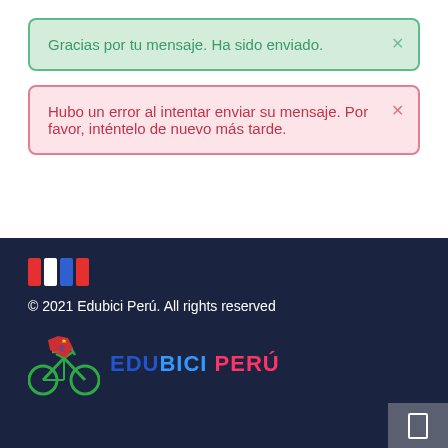Gracias por tu mensaje. Ha sido enviado.
Hubo un error al intentar enviar su mensaje. Por favor, inténtelo de nuevo más tarde.
[Figure (illustration): Peruvian flag icon made of colored vertical bars (red, white, blue, red)]
© 2021 Edubici Perú. All rights reserved
[Figure (logo): Edubici Perú logo with bicycle and map graphic, text reads EDU BICI PERÚ in blue and pink colors]